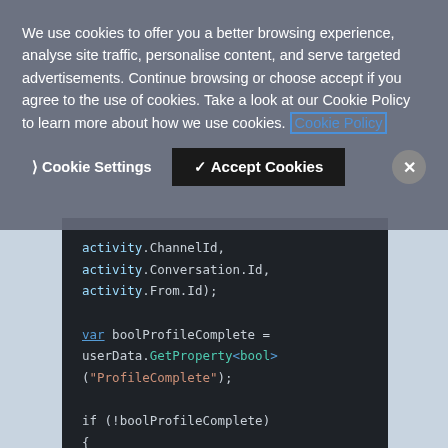We use cookies to offer you a better browsing experience, analyse site traffic, personalise content, and serve targeted advertisements. Continue browsing or choose accept if you agree to the use of cookies. Take a look at our Cookie Policy to learn more about how we use cookies. Cookie Policy
[Figure (screenshot): Cookie consent banner with Cookie Settings and Accept Cookies buttons overlaid on a code editor showing JavaScript/C# code with syntax highlighting]